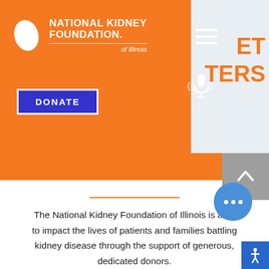[Figure (logo): National Kidney Foundation of Illinois logo with white kidney shape icon and white text on orange background]
[Figure (screenshot): Navigation bar with hamburger menu icon and microphone/accessibility icon on orange background]
[Figure (screenshot): Partial orange text on light gray background top right, reading 'ET' and 'TERS']
[Figure (infographic): Blue DONATE button]
YOUR PASSION MAKES THE DIFFERENCE
The National Kidney Foundation of Illinois is able to impact the lives of patients and families battling kidney disease through the support of generous, dedicated donors.
[Figure (screenshot): Gray scroll-to-top button with upward chevron, blue ellipsis button, and blue accessibility button]